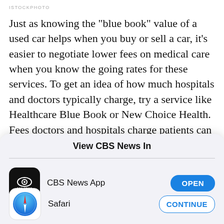ISTOCKPHOTO
Just as knowing the "blue book" value of a used car helps when you buy or sell a car, it's easier to negotiate lower fees on medical care when you know the going rates for these services. To get an idea of how much hospitals and doctors typically charge, try a service like Healthcare Blue Book or New Choice Health. Fees doctors and hospitals charge patients can be up to 10 times higher than the fees insurance
View CBS News In
[Figure (logo): CBS News app icon - black background with CBS eye logo and 'CBS NEWS' text]
CBS News App
[Figure (logo): Safari browser icon - compass with blue and red needle on white background]
Safari